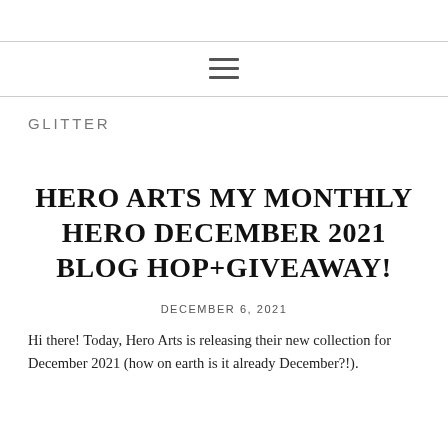GLITTER
HERO ARTS MY MONTHLY HERO DECEMBER 2021 BLOG HOP+GIVEAWAY!
DECEMBER 6, 2021
Hi there! Today, Hero Arts is releasing their new collection for December 2021 (how on earth is it already December?!).